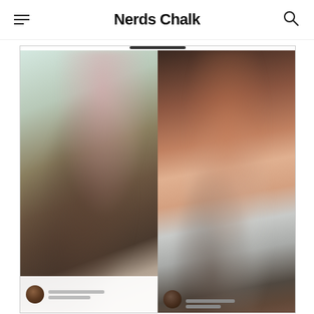Nerds Chalk
[Figure (screenshot): Screenshot of a mobile app showing two side-by-side blurred photos of people, with small avatar icons and text at the bottom of each photo panel.]